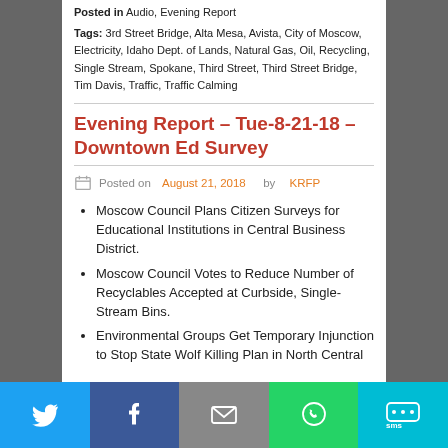Posted in Audio, Evening Report
Tags: 3rd Street Bridge, Alta Mesa, Avista, City of Moscow, Electricity, Idaho Dept. of Lands, Natural Gas, Oil, Recycling, Single Stream, Spokane, Third Street, Third Street Bridge, Tim Davis, Traffic, Traffic Calming
Evening Report – Tue-8-21-18 – Downtown Ed Survey
Posted on August 21, 2018 by KRFP
Moscow Council Plans Citizen Surveys for Educational Institutions in Central Business District.
Moscow Council Votes to Reduce Number of Recyclables Accepted at Curbside, Single-Stream Bins.
Environmental Groups Get Temporary Injunction to Stop State Wolf Killing Plan in North Central